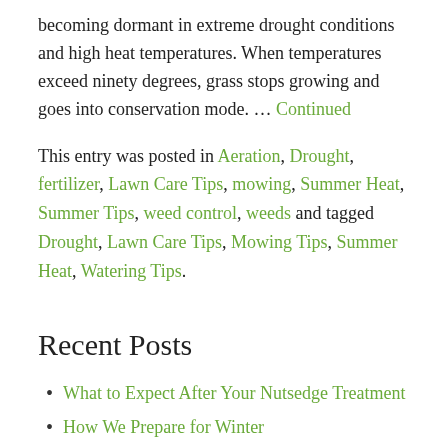becoming dormant in extreme drought conditions and high heat temperatures. When temperatures exceed ninety degrees, grass stops growing and goes into conservation mode. … Continued
This entry was posted in Aeration, Drought, fertilizer, Lawn Care Tips, mowing, Summer Heat, Summer Tips, weed control, weeds and tagged Drought, Lawn Care Tips, Mowing Tips, Summer Heat, Watering Tips.
Recent Posts
What to Expect After Your Nutsedge Treatment
How We Prepare for Winter
Fall Fertilizing Helps Boost Spring Lawn Growth
5 To Dos For Fall Lawn Care
Acorn Sightings Clues Us Into Fall Lawn Care